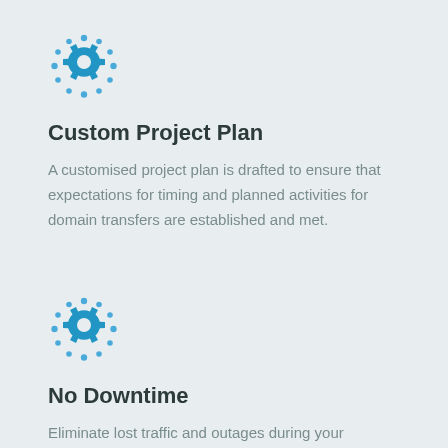[Figure (illustration): Blue gear/settings icon with dotted circle around it]
Custom Project Plan
A customised project plan is drafted to ensure that expectations for timing and planned activities for domain transfers are established and met.
[Figure (illustration): Blue gear/settings icon with dotted circle around it]
No Downtime
Eliminate lost traffic and outages during your transfer.